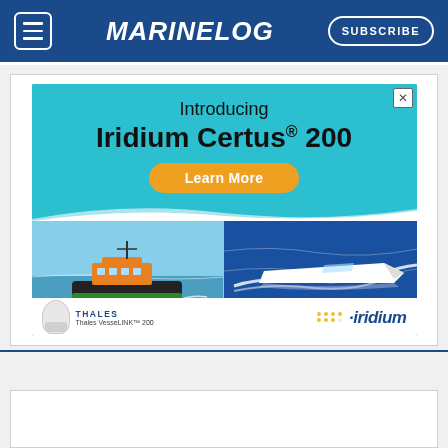MARINELOG — SUBSCRIBE
[Figure (advertisement): Iridium Certus 200 advertisement banner. Teal background with text 'Introducing Iridium Certus® 200', orange 'Learn More' button, two boat photos (orange tugboat and white speedboat), Thales VesseLINK 200 device, Thales and Iridium logos.]